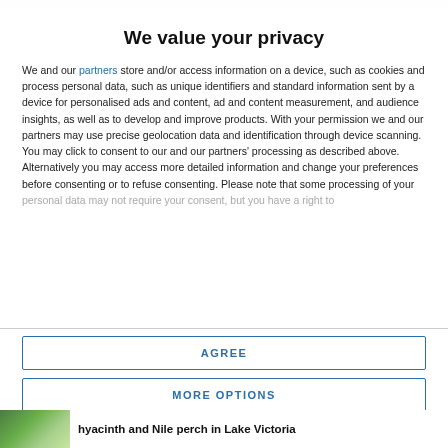We value your privacy
We and our partners store and/or access information on a device, such as cookies and process personal data, such as unique identifiers and standard information sent by a device for personalised ads and content, ad and content measurement, and audience insights, as well as to develop and improve products. With your permission we and our partners may use precise geolocation data and identification through device scanning. You may click to consent to our and our partners' processing as described above. Alternatively you may access more detailed information and change your preferences before consenting or to refuse consenting. Please note that some processing of your personal data may not require your consent, but you have a right to
AGREE
MORE OPTIONS
hyacinth and Nile perch in Lake Victoria